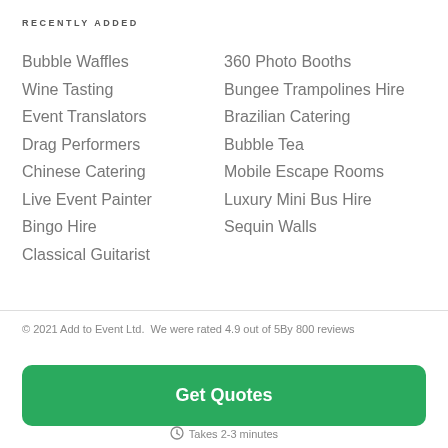RECENTLY ADDED
Bubble Waffles
Wine Tasting
Event Translators
Drag Performers
Chinese Catering
Live Event Painter
Bingo Hire
Classical Guitarist
360 Photo Booths
Bungee Trampolines Hire
Brazilian Catering
Bubble Tea
Mobile Escape Rooms
Luxury Mini Bus Hire
Sequin Walls
© 2021 Add to Event Ltd.  We were rated 4.9 out of 5By 800 reviews
Get Quotes
Takes 2-3 minutes